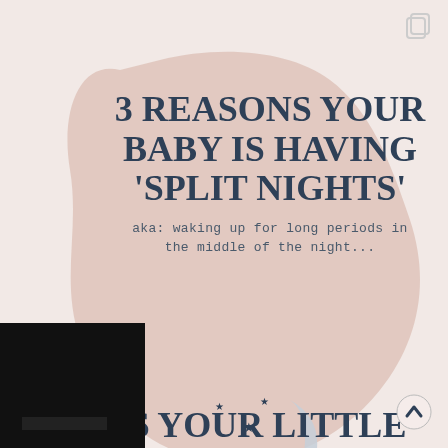[Figure (illustration): Soft pinkish-beige organic blob shape in background with decorative stars and crescent moon SVG decoration]
3 REASONS YOUR BABY IS HAVING 'SPLIT NIGHTS'
aka: waking up for long periods in the middle of the night...
[Figure (logo): Kyli Martin circular logo with illustrated sleeping baby]
SIGNS YOUR LITTLE